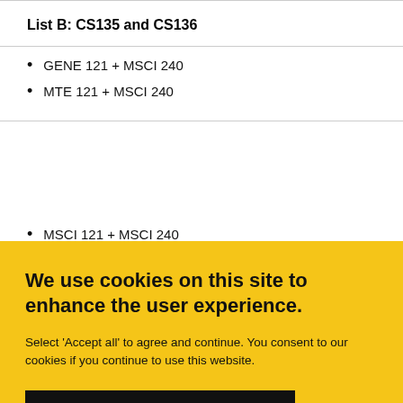List B: CS135 and CS136
GENE 121 + MSCI 240
MTE 121 + MSCI 240
MSCI 121 + MSCI 240
We use cookies on this site to enhance the user experience.
Select 'Accept all' to agree and continue. You consent to our cookies if you continue to use this website.
ACCEPT ALL
Taking courses with the pre-requisites